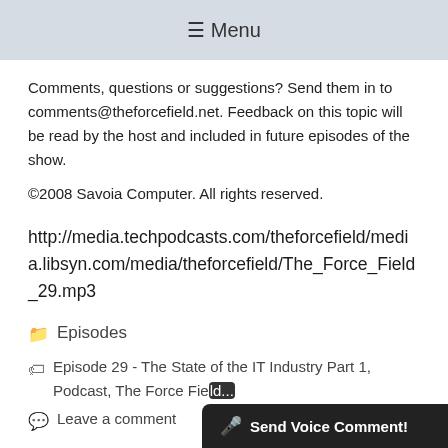≡ Menu
Comments, questions or suggestions? Send them in to comments@theforcefield.net. Feedback on this topic will be read by the host and included in future episodes of the show.
©2008 Savoia Computer. All rights reserved.
http://media.techpodcasts.com/theforcefield/media.libsyn.com/media/theforcefield/The_Force_Field_29.mp3
📁 Episodes
🏷 Episode 29 - The State of the IT Industry Part 1, Podcast, The Force Field...
💬 Leave a comment
[Figure (screenshot): Dark bar at bottom right reading 'Send Voice Comment!' with microphone icon]